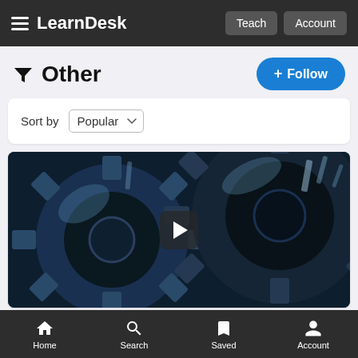LearnDesk — navigation bar with Teach and Account buttons
Other
+ Follow
Sort by Popular
[Figure (photo): Close-up photograph of industrial metal gears/cogs with blue-steel toning, with a video play button overlay in the center]
Home  Search  Saved  Account